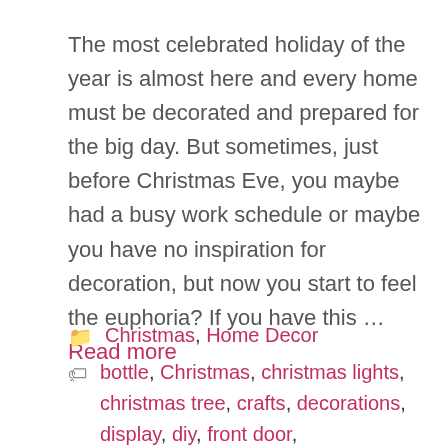The most celebrated holiday of the year is almost here and every home must be decorated and prepared for the big day. But sometimes, just before Christmas Eve, you maybe had a busy work schedule or maybe you have no inspiration for decoration, but now you start to feel the euphoria? If you have this … Read more
Categories: Christmas, Home Decor
Tags: bottle, Christmas, christmas lights, christmas tree, crafts, decorations, display, diy, front door,